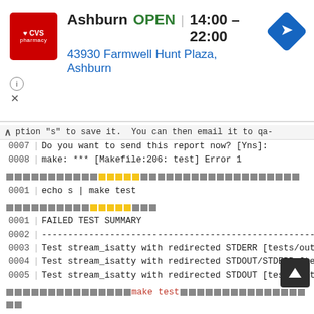[Figure (screenshot): CVS Pharmacy ad banner showing store in Ashburn, OPEN 14:00-22:00, address 43930 Farmwell Hunt Plaza Ashburn, with navigation icon]
option "s" to save it.  You can then email it to qa-
0007 Do you want to send this report now? [Yns]:
0008 make: *** [Makefile:206: test] Error 1
[redacted text block with highlighted words]
0001 echo s | make test
[redacted text block with highlighted words]
0001 FAILED TEST SUMMARY
0002 ---
0003 Test stream_isatty with redirected STDERR [tests/out
0004 Test stream_isatty with redirected STDOUT/STDERR [te
0005 Test stream_isatty with redirected STDOUT [tests/out
...make test...
...NO_INTERACTION=1... (参考: PHP extension make test TIPS – Qiita Running the test suite — PHP Intern